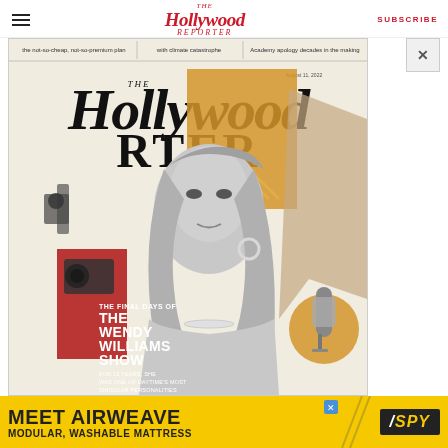THE Hollywood REPORTER | SUBSCRIBE
[Figure (photo): Screenshot of The Hollywood Reporter website showing the magazine cover featuring The Wendy Williams Show. The magazine cover shows Wendy Williams in black and white with colorful graphic design elements. Cover text reads: 'the not-so-cheap, not-so-premium plan', 'with climate catastrophe', 'Academy apology decades in the making', 'THE FINAL DAYS OF THE WENDY WILLIAMS SHOW', 'FOR 13 YEARS, SHE WAS ONE OF DAYTIME'S MOST SINGULAR PERSONALITIES'. Dated August 11, 2022. A close button X is visible on the right side.]
[Figure (infographic): Advertisement banner at the bottom: yellow background with black text 'MEET AIRWEAVE' in large bold letters, 'MODULAR, WASHABLE MATTRESS' below it. SPY logo in black box with yellow text on the right. Blue X close button on the upper right of the ad.]